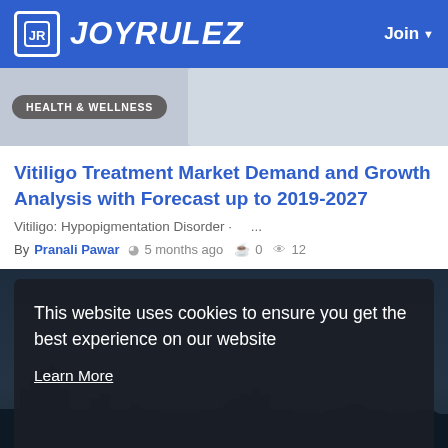JOYRULEZ  Join
[Figure (screenshot): Article category banner with 'HEALTH & WELLNESS' badge on gray background]
Vitiligo Treatment Market Demand and Growth Analysis with Forecast up to 2019-2027
Vitiligo: Hypopigmentation Disorder · ...
By Pranali Pawar  5 months ago  0  12
[Figure (photo): Night cityscape photo with dark overlay showing cookie consent dialog. Text: 'This website uses cookies to ensure you get the best experience on our website. Learn More' and 'Got It!' button.]